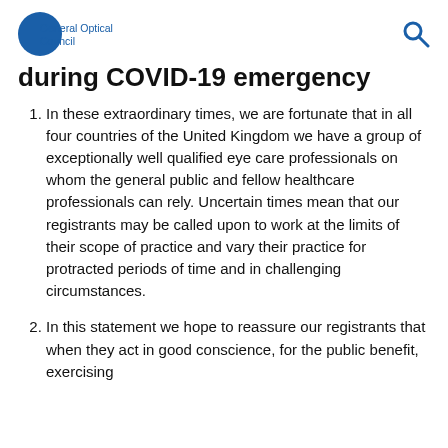General Optical Council
during COVID-19 emergency
In these extraordinary times, we are fortunate that in all four countries of the United Kingdom we have a group of exceptionally well qualified eye care professionals on whom the general public and fellow healthcare professionals can rely. Uncertain times mean that our registrants may be called upon to work at the limits of their scope of practice and vary their practice for protracted periods of time and in challenging circumstances.
In this statement we hope to reassure our registrants that when they act in good conscience, for the public benefit, exercising